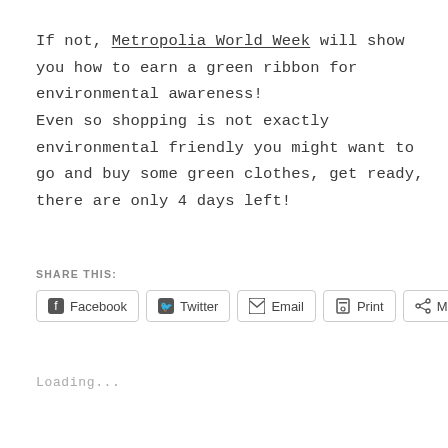If not, Metropolia World Week will show you how to earn a green ribbon for environmental awareness! Even so shopping is not exactly environmental friendly you might want to go and buy some green clothes, get ready, there are only 4 days left!
SHARE THIS:
Facebook | Twitter | Email | Print | More
Loading...